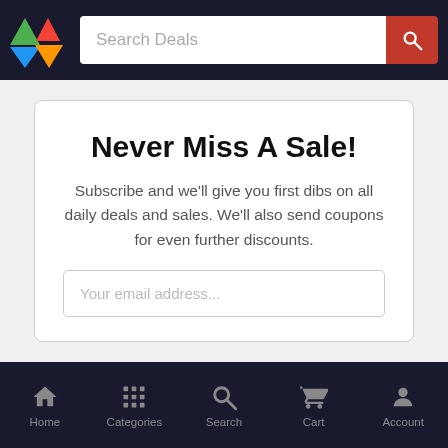[Figure (logo): Colorful mountain triangle logo with green, blue, red, and yellow triangles]
Search Deals
Never Miss A Sale!
Subscribe and we'll give you first dibs on all daily deals and sales. We'll also send coupons for even further discounts.
Your email address...
Home   Categories   Search   Cart   Account